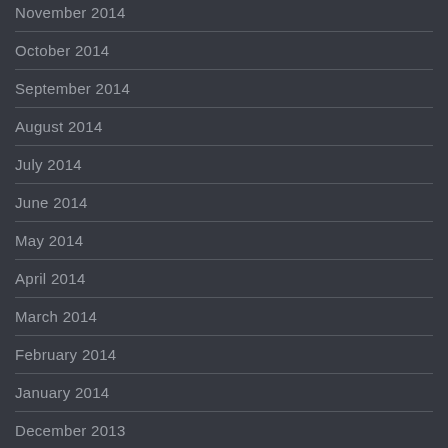November 2014
October 2014
September 2014
August 2014
July 2014
June 2014
May 2014
April 2014
March 2014
February 2014
January 2014
December 2013